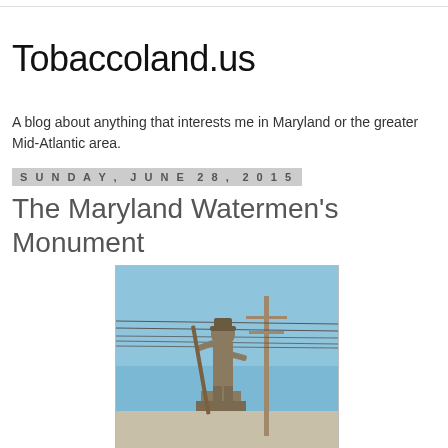Tobaccoland.us
A blog about anything that interests me in Maryland or the greater Mid-Atlantic area.
Sunday, June 28, 2015
The Maryland Watermen's Monument
[Figure (photo): Photograph of the Maryland Watermen's Monument statue against a blue sky, with utility poles and power lines visible in the background. The statue depicts a waterman figure holding a tool.]